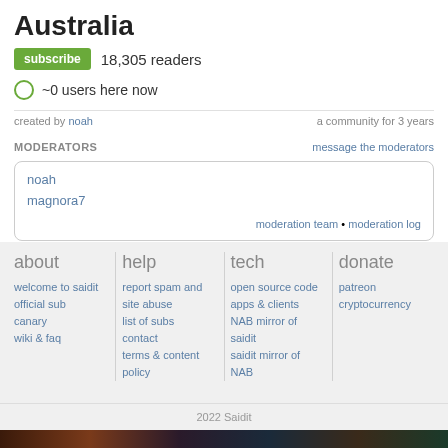Australia
subscribe  18,305 readers
~0 users here now
created by noah   a community for 3 years
MODERATORS
message the moderators
noah
magnora7
moderation team • moderation log
about
welcome to saidit
official sub
canary
wiki & faq
help
report spam and site abuse
list of subs
contact
terms & content policy
tech
open source code
apps & clients
NAB mirror of saidit
saidit mirror of NAB
donate
patreon
cryptocurrency
2022 Saidit